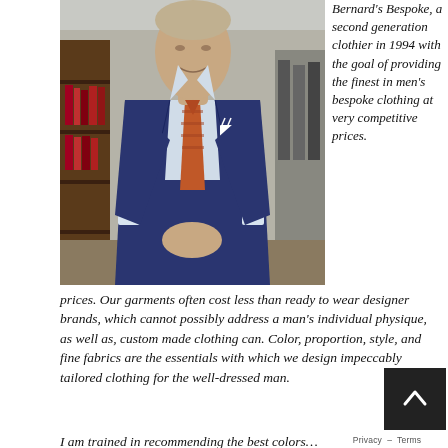[Figure (photo): A man wearing a navy blue suit with an orange patterned tie and white pocket square, standing in what appears to be a clothing store with garments visible in the background.]
Bernard's Bespoke, a second generation clothier in 1994 with the goal of providing the finest in men's bespoke clothing at very competitive prices. Our garments often cost less than ready to wear designer brands, which cannot possibly address a man's individual physique, as well as, custom made clothing can. Color, proportion, style, and fine fabrics are the essentials with which we design impeccably tailored clothing for the well-dressed man.
I am trained in recommending the best colors…